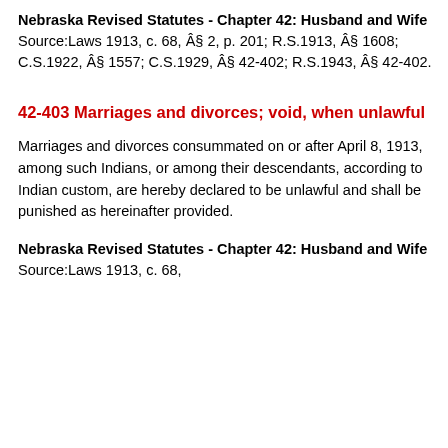Nebraska Revised Statutes - Chapter 42: Husband and Wife Source:Laws 1913, c. 68, § 2, p. 201; R.S.1913, § 1608; C.S.1922, § 1557; C.S.1929, § 42-402; R.S.1943, § 42-402.
42-403 Marriages and divorces; void, when unlawful
Marriages and divorces consummated on or after April 8, 1913, among such Indians, or among their descendants, according to Indian custom, are hereby declared to be unlawful and shall be punished as hereinafter provided.
Nebraska Revised Statutes - Chapter 42: Husband and Wife Source:Laws 1913, c. 68,